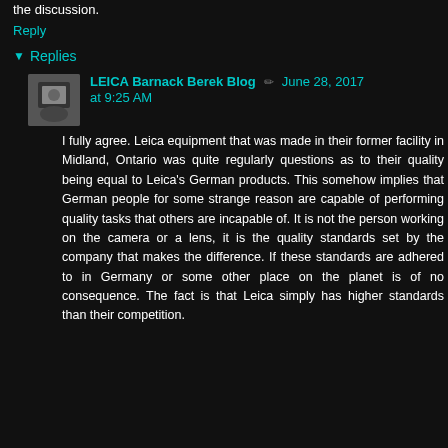the discussion.
Reply
▾ Replies
LEICA Barnack Berek Blog ✏ June 28, 2017 at 9:25 AM
I fully agree. Leica equipment that was made in their former facility in Midland, Ontario was quite regularly questions as to their quality being equal to Leica's German products. This somehow implies that German people for some strange reason are capable of performing quality tasks that others are incapable of. It is not the person working on the camera or a lens, it is the quality standards set by the company that makes the difference. If these standards are adhered to in Germany or some other place on the planet is of no consequence. The fact is that Leica simply has higher standards than their competition.